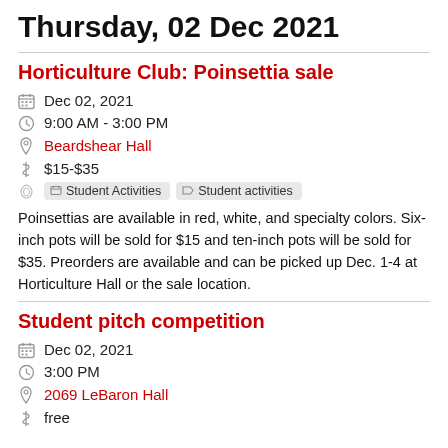Thursday, 02 Dec 2021
Horticulture Club: Poinsettia sale
Dec 02, 2021
9:00 AM - 3:00 PM
Beardshear Hall
$15-$35
Student Activities  Student activities
Poinsettias are available in red, white, and specialty colors. Six-inch pots will be sold for $15 and ten-inch pots will be sold for $35. Preorders are available and can be picked up Dec. 1-4 at Horticulture Hall or the sale location.
Student pitch competition
Dec 02, 2021
3:00 PM
2069 LeBaron Hall
free